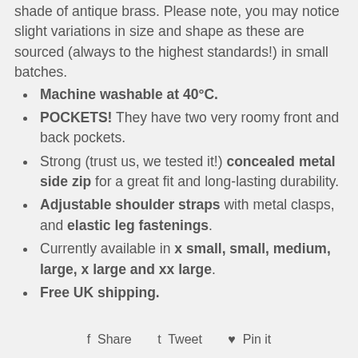shade of antique brass. Please note, you may notice slight variations in size and shape as these are sourced (always to the highest standards!) in small batches.
Machine washable at 40°C.
POCKETS! They have two very roomy front and back pockets.
Strong (trust us, we tested it!) concealed metal side zip for a great fit and long-lasting durability.
Adjustable shoulder straps with metal clasps, and elastic leg fastenings.
Currently available in x small, small, medium, large, x large and xx large.
Free UK shipping.
Share  Tweet  Pin it